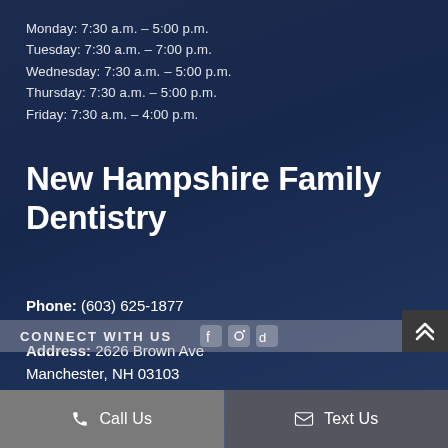Monday: 7:30 a.m. – 5:00 p.m.
Tuesday: 7:30 a.m. – 7:00 p.m.
Wednesday: 7:30 a.m. – 5:00 p.m.
Thursday: 7:30 a.m. – 5:00 p.m.
Friday: 7:30 a.m. – 4:00 p.m.
New Hampshire Family Dentistry
Phone: (603) 625-1877
Address: 2626 Brown Ave Manchester, NH 03103
CONNECT WITH US
Call Us
Text Us